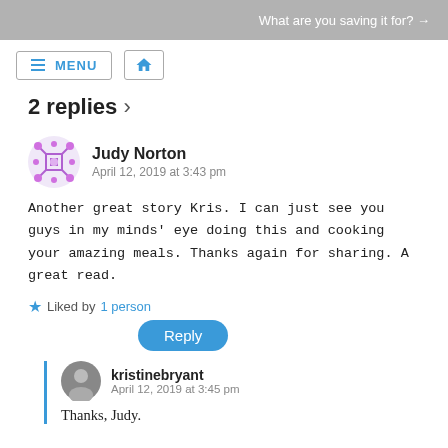What are you saving it for? →
[Figure (other): Navigation bar with MENU button and home icon button]
2 replies ›
Judy Norton
April 12, 2019 at 3:43 pm
Another great story Kris. I can just see you guys in my minds' eye doing this and cooking your amazing meals. Thanks again for sharing. A great read.
★ Liked by 1 person
Reply
kristinebryant
April 12, 2019 at 3:45 pm
Thanks, Judy.